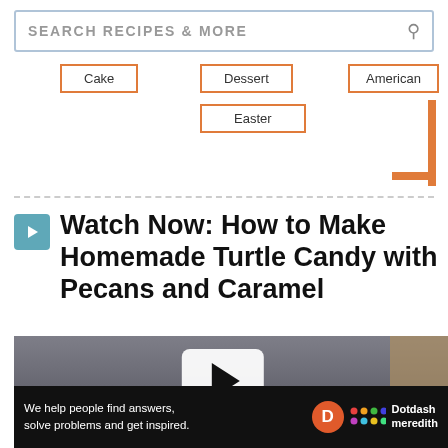SEARCH RECIPES & MORE
Cake
Dessert
American
Easter
Watch Now: How to Make Homemade Turtle Candy with Pecans and Caramel
[Figure (screenshot): Video thumbnail showing a dark gray surface with a play button overlay and turtle candy visible on the right side]
We help people find answers, solve problems and get inspired.
[Figure (logo): Dotdash Meredith logo with orange D circle and colorful dots grid]